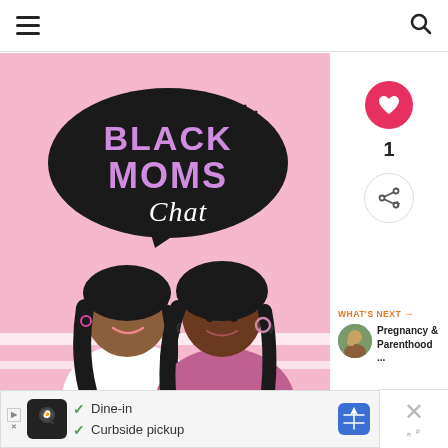Navigation header with hamburger menu and search icon
[Figure (illustration): Black Moms Chat podcast cover art: pink background with two illustrated Black women and a large black speech bubble containing the text 'BLACK MOMS Chat' in bold purple and white script letters]
[Figure (infographic): Heart/like button circle in pink, count of 1, share button circle with share icon]
1
WHAT'S NEXT → Pregnancy & Parenthood ...
[Figure (photo): Small circular thumbnail photo for Pregnancy & Parenthood next item]
[Figure (infographic): Advertisement banner: Dine-in, Curbside pickup with restaurant logo and map icon]